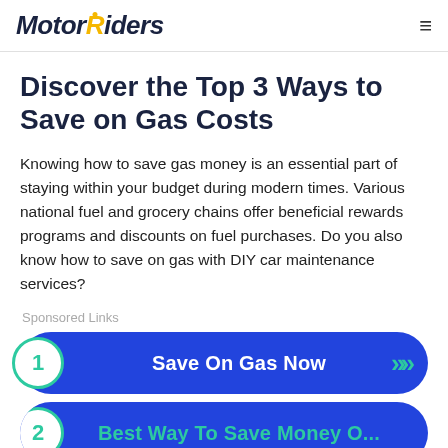MotorRiders
Discover the Top 3 Ways to Save on Gas Costs
Knowing how to save gas money is an essential part of staying within your budget during modern times. Various national fuel and grocery chains offer beneficial rewards programs and discounts on fuel purchases. Do you also know how to save on gas with DIY car maintenance services?
Sponsored Links
1  Save On Gas Now
2  Best Way To Save Money O...